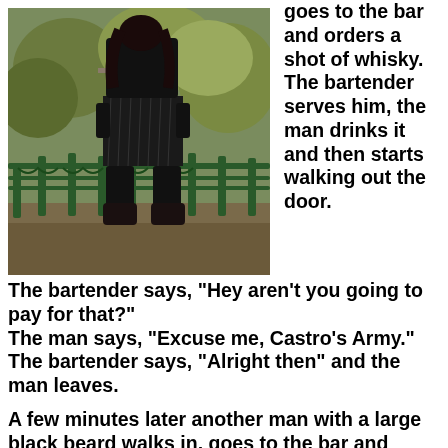[Figure (photo): Photograph of a person in a kilt and black knee-high boots/socks standing on a bridge with ornate green iron railings and trees in the background.]
goes to the bar and orders a shot of whisky. The bartender serves him, the man drinks it and then starts walking out the door.
The bartender says, "Hey aren't you going to pay for that?"
The man says, "Excuse me, Castro's Army."
The bartender says, "Alright then" and the man leaves.
A few minutes later another man with a large black beard walks in, goes to the bar and orders a shot of whisky.
The bartender also serves him and the man drinks and then starts walking out the door.